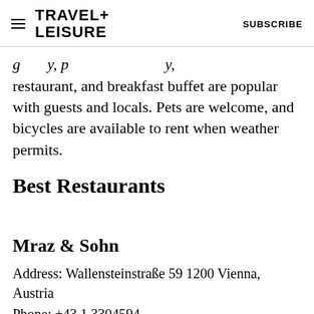TRAVEL+ LEISURE  SUBSCRIBE
restaurant, and breakfast buffet are popular with guests and locals. Pets are welcome, and bicycles are available to rent when weather permits.
Best Restaurants
Mraz & Sohn
Address: Wallensteinstraße 59 1200 Vienna, Austria
Phone: +43 1 3304594
Website
[Figure (other): Capital One Venture X advertisement banner]